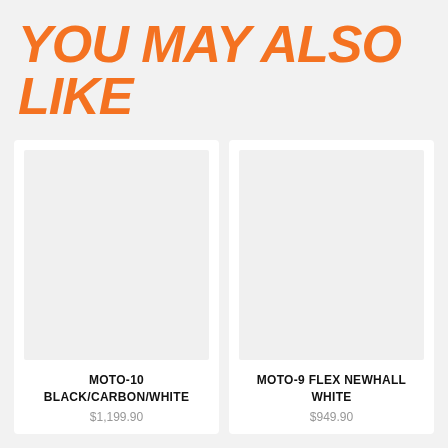YOU MAY ALSO LIKE
MOTO-10
BLACK/CARBON/WHITE
$1,199.90
MOTO-9 FLEX NEWHALL WHITE
$949.90